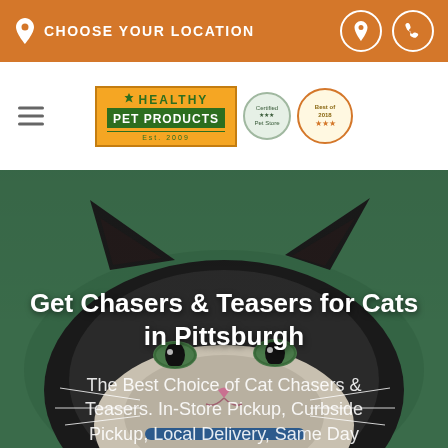CHOOSE YOUR LOCATION
[Figure (logo): Healthy Pet Products logo with Est. 2009, certification badge, and Best of 2018 award badge]
[Figure (photo): Close-up photo of a black and white cat peering over a green background, showing ears and eyes]
Get Chasers & Teasers for Cats in Pittsburgh
The Best Choice of Cat Chasers & Teasers. In-Store Pickup, Curbside Pickup, Local Delivery, Same Day